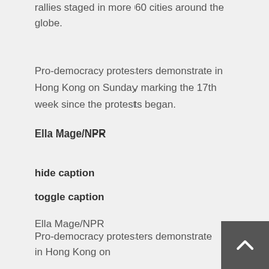rallies staged in more 60 cities around the globe.
Pro-democracy protesters demonstrate in Hong Kong on Sunday marking the 17th week since the protests began.
Ella Mage/NPR
hide caption
toggle caption
Ella Mage/NPR
Pro-democracy protesters demonstrate in Hong Kong on